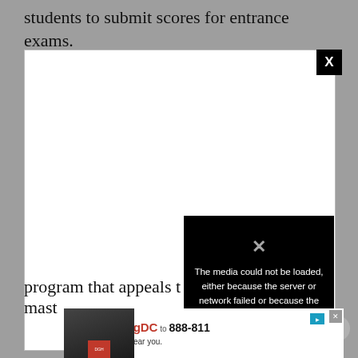students to submit scores for entrance exams.
[Figure (screenshot): A browser video player modal with a white background showing a media error message: 'The media could not be loaded, either because the server or network failed or because the format is not supported.' A black X close button is in the top right corner of the modal, and a smaller circular X button appears below and to the right of the modal.]
program that appeals t...
mast...
[Figure (screenshot): An advertisement banner reading 'Text LiveLongDC to 888-811 to find naloxone near you.' with an image of a person and various icons/badges.]